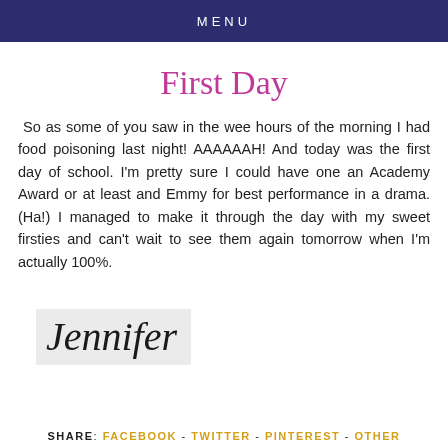MENU
First Day
So as some of you saw in the wee hours of the morning I had food poisoning last night! AAAAAAH! And today was the first day of school. I'm pretty sure I could have one an Academy Award or at least and Emmy for best performance in a drama. (Ha!) I managed to make it through the day with my sweet firsties and can't wait to see them again tomorrow when I'm actually 100%.
[Figure (illustration): Handwritten cursive signature reading 'Jennifer' on a light grey background rectangle]
SHARE: FACEBOOK - TWITTER - PINTEREST - OTHER